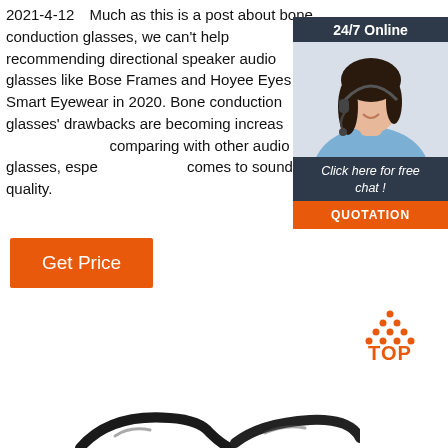2021-4-12  Much as this is a post about bone conduction glasses, we can't help recommending directional speaker audio glasses like Bose Frames and Hoyee Eyes Smart Eyewear in 2020. Bone conduction glasses' drawbacks are becoming increasingly apparent when comparing with other audio glasses, especially when it comes to sound quality.
[Figure (photo): Customer service representative woman with headset, smiling, with '24/7 Online' header, 'Click here for free chat!' text, and 'QUOTATION' orange button — a chat widget overlay]
Get Price
[Figure (illustration): TOP badge with orange dots arranged in triangle above the word TOP in orange]
[Figure (photo): Two black glasses/eyewear frames partially visible at the bottom of the page]